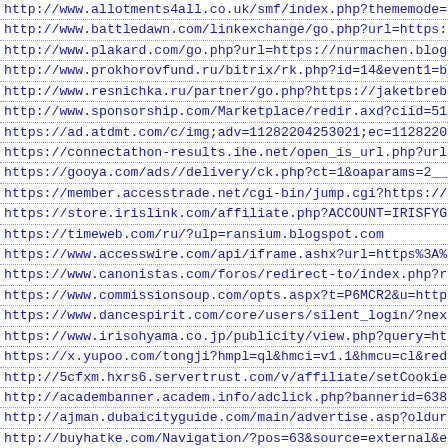http://www.allotments4all.co.uk/smf/index.php?thememode=fu...
http://www.battledawn.com/linkexchange/go.php?url=https://g...
http://www.plakard.com/go.php?url=https://nurmachen.blogspo...
http://www.prokhorovfund.ru/bitrix/rk.php?id=14&event1=bann...
http://www.resnichka.ru/partner/go.php?https://jaketbrebresn...
http://www.sponsorship.com/Marketplace/redir.axd?ciid=514&c...
https://ad.atdmt.com/c/img;adv=11282204253021;ec=1128220449...
https://connectathon-results.ihe.net/open_is_url.php?url=ht...
https://gooya.com/ads/www/delivery/ck.php?ct=1&oaparams=2__...
https://member.accesstrade.net/cgi-bin/jump.cgi?https://zaa...
https://store.irislink.com/affiliate.php?ACCOUNT=IRISFYGE&A...
https://timeweb.com/ru/?ulp=ransium.blogspot.com
https://www.accesswire.com/api/iframe.ashx?url=https%3A%2F%...
https://www.canonistas.com/foros/redirect-to/index.php?redi...
https://www.commissionsoup.com/opts.aspx?t=P6MCR2&u=https%3...
https://www.dancespirit.com/core/users/silent_login/?next_u...
https://www.irisohyama.co.jp/publicity/view.php?query=https...
https://x.yupoo.com/tongji?hmpl=ql&hmci=v1.1&hmcu=cl&redire...
http://5cfxm.hxrs6.servertrust.com/v/affiliate/setCookie.as...
http://academbanner.academ.info/adclick.php?bannerid=6382&z...
http://ajman.dubaicityguide.com/main/advertise.asp?oldurl=h...
http://buyhatke.com/Navigation/?pos=63&source=external&ext2...
http://comtool.morinda.com/mailing/click/15230223?l=https%3...
http://cse.google.at/url?q=https://amsyori.blogspot.com
http://cse.google.com.hk/url?q=https://yulianafashionstyle....
http://dol.deliver.ifeng.com/c?z=ifeng&la=0&si=2&cg=1&c=1&c...
http://images.google.co.id/url?q=https://ziunzyun.blogspot....
http://maps.google.jo/url?q=https://yurikizan.blogspot.com
http://redirects.tradedoubler.com/utm/td_redirect.php?td_ke...
http://secure.milliyet.com.tr/redirect/Default.aspx?l=https...